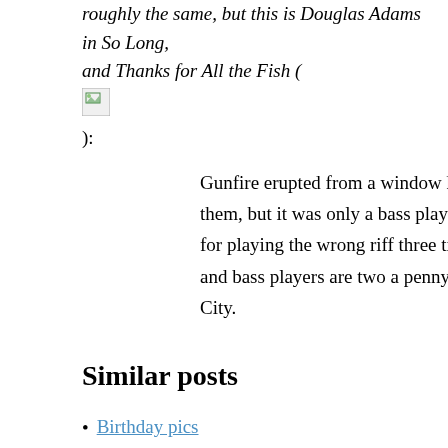roughly the same, but this is Douglas Adams in So Long, and Thanks for All the Fish (
[Figure (other): Broken/missing image placeholder icon]
):
Gunfire erupted from a window high above them, but it was only a bass player getting shot for playing the wrong riff three times in a row, and bass players are two a penny in Han Dold City.
Similar posts
Birthday pics
Thanks all for kind wishes. Cake under attack from fish: Afterwards I got to go walkies, and chose one of the old
Taken by the gypsies